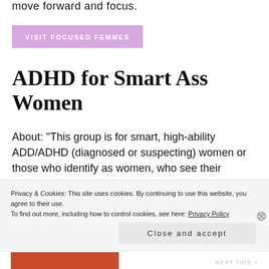move forward and focus.
[Figure (other): Purple/lavender button with text VISIT FOCUSED FEMMES]
ADHD for Smart Ass Women
About: “This group is for smart, high-ability ADD/ADHD (diagnosed or suspecting) women or those who identify as women, who see their symptoms as more positive than negative. I started this group because I couldn’t find an ADHD group for women who believe
Privacy & Cookies: This site uses cookies. By continuing to use this website, you agree to their use.
To find out more, including how to control cookies, see here: Privacy Policy
Close and accept